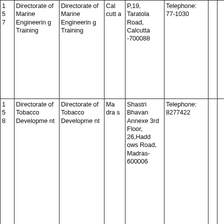| # | Name | Name | City | Address | Contact |  |  |  |
| --- | --- | --- | --- | --- | --- | --- | --- | --- |
| 1
5
7 | Directorate of Marine Engineering Training | Directorate of Marine Engineering Training | Calcutta | P,19, Taratola Road, Calcutta-700088 | Telephone: 77-1030 |  |  |  |
| 1
5
8 | Directorate of Tobacco Development | Directorate of Tobacco Development | Madras | Shastri Bhavan Annexe 3rd Floor, 26,Haddows Road, Madras-600006 | Telephone: 8277422 |  |  |  |
| 1
5
9 | Dr. B.C. Roy Postgraduate Institute of Basic Medical Sciences, Centre forNeurosc | Dr. B.C. Roy Postgraduate Institute of Basic Medical Sciences, Centre forNeurosc | Calcutta | 244B, Acharya Jagadish Chandra Bose Road, Calcutta-700020 | Telephone: 43-2036,43-2086 |  |  |  |